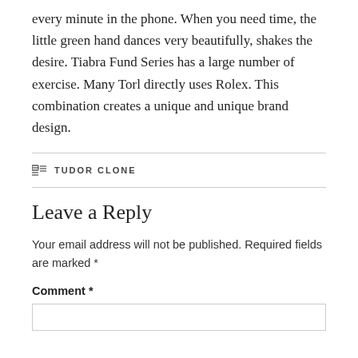every minute in the phone. When you need time, the little green hand dances very beautifully, shakes the desire. Tiabra Fund Series has a large number of exercise. Many Torl directly uses Rolex. This combination creates a unique and unique brand design.
TUDOR CLONE
Leave a Reply
Your email address will not be published. Required fields are marked *
Comment *